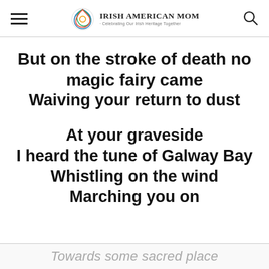Irish American Mom - Celebrating Our Irish Heritage Together
But on the stroke of death no magic fairy came
Waiving your return to dust

At your graveside
I heard the tune of Galway Bay
Whistling on the wind
Marching you on
Towards some sacred place